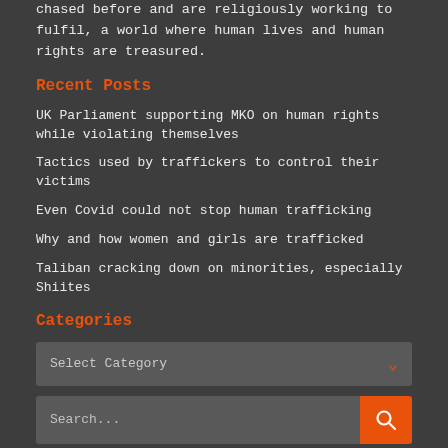chased before and are religiously working to fulfil, a world where human lives and human rights are treasured.
Recent Posts
UK Parliament supporting MKO on human rights while violating themselves
Tactics used by traffickers to control their victims
Even Covid could not stop human trafficking
Why and how women and girls are trafficked
Taliban cracking down on minorities, especially Shiites
Categories
Select Category